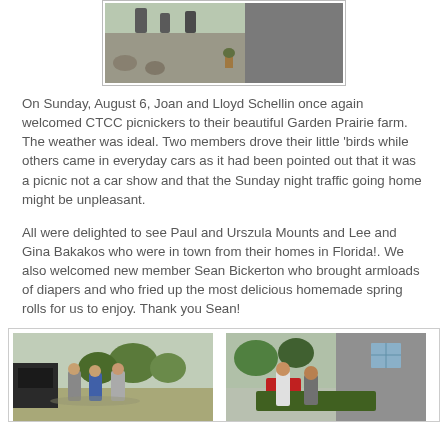[Figure (photo): Outdoor scene showing people gathered at a farm setting, viewed from above/distance. Partially visible at top of page.]
On Sunday, August 6, Joan and Lloyd Schellin once again welcomed CTCC picnickers to their beautiful Garden Prairie farm.  The weather was ideal. Two members drove their little 'birds while others came in everyday cars as it had been pointed out that it was a picnic not a car show and that the Sunday night traffic going home might be unpleasant.
All were delighted to see Paul and Urszula Mounts and Lee and Gina Bakakos who were in town from their homes in Florida!. We also welcomed new member Sean Bickerton who brought armloads of diapers and who fried up the most delicious homemade spring rolls for us to enjoy. Thank you Sean!
[Figure (photo): Left photo: Three men standing outdoors near farm equipment and trees on a sunny day.]
[Figure (photo): Right photo: Two men working outdoors near a building, appear to be cooking or preparing food on a table.]